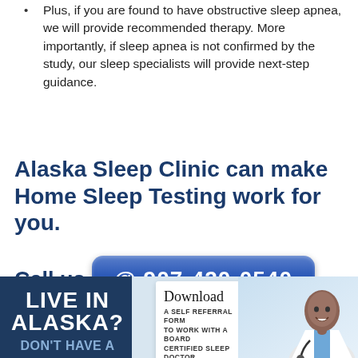Plus, if you are found to have obstructive sleep apnea, we will provide recommended therapy. More importantly, if sleep apnea is not confirmed by the study, our sleep specialists will provide next-step guidance.
Alaska Sleep Clinic can make Home Sleep Testing work for you.
Call us @ 907-420-0540.
[Figure (infographic): Bottom banner with dark blue section reading 'LIVE IN ALASKA?' and 'DON'T HAVE A', a white download card reading 'Download A Self Referral Form to work with a Board Certified Sleep Doctor' with a cloud icon, and a photo of a smiling doctor in a white coat with stethoscope.]